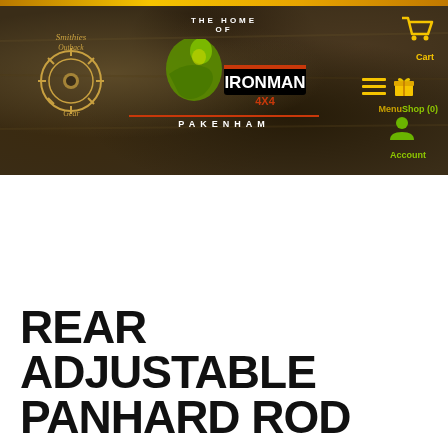[Figure (screenshot): Website header banner for Smithies Outback Gear, home of Ironman 4x4 Pakenham, with navigation icons for Cart, Menu, Shop (0), and Account on dark rocky textured background]
REAR ADJUSTABLE PANHARD ROD